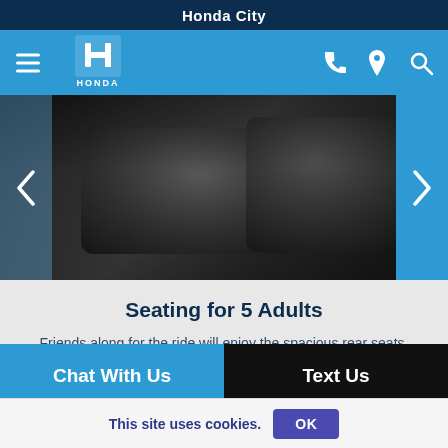Honda City
[Figure (screenshot): Honda website navigation bar with hamburger menu, Honda logo, phone icon, location pin icon, and search icon on blue background]
[Figure (photo): Dark interior of a Honda vehicle showing black leather rear seats]
Seating for 5 Adults
Friends along for the ride will enjoy the spacious rear seats, which offer nearly as much legroom, shoulder room and hiproom as the front seats.
CABIN
Chat With Us
Text Us
This site uses cookies.